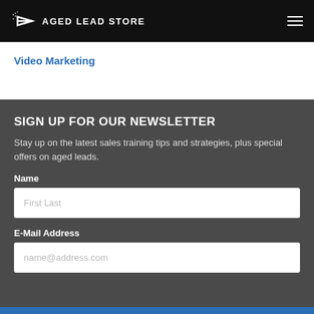AGED LEAD STORE
Video Marketing
SIGN UP FOR OUR NEWSLETTER
Stay up on the latest sales training tips and strategies, plus special offers on aged leads.
Name
First Last
E-Mail Address
name@address.com